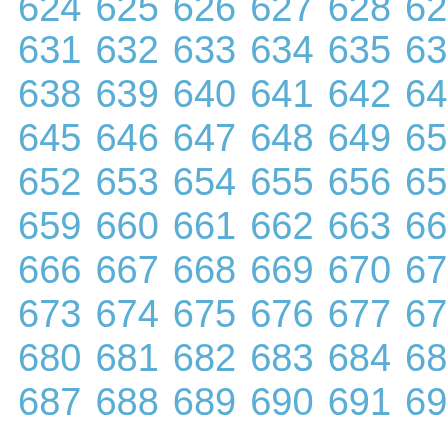624 625 626 627 628 629 630 631 632 633 634 635 636 637 638 639 640 641 642 643 644 645 646 647 648 649 650 651 652 653 654 655 656 657 658 659 660 661 662 663 664 665 666 667 668 669 670 671 672 673 674 675 676 677 678 679 680 681 682 683 684 685 686 687 688 689 690 691 692 693